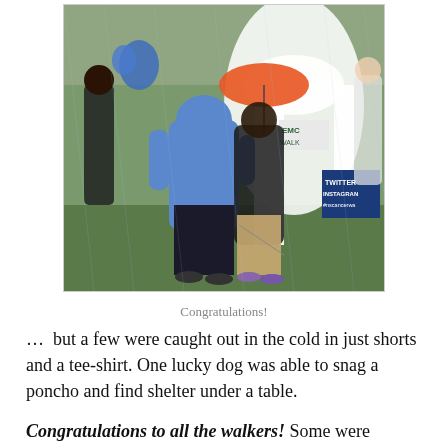[Figure (photo): Outdoor charity walk event on a rainy day. People wearing rain gear, a person in a blue hoodie prominent in foreground, a large white inflatable arch in background, a sign reading TWITTER INSTAGRAM #nscancerwa, people holding colorful umbrellas and balloons.]
Congratulations!
…  but a few were caught out in the cold in just shorts and a tee-shirt. One lucky dog was able to snag a poncho and find shelter under a table.
Congratulations to all the walkers! Some were walking for themselves, others in memory and in honor of loved ones. One